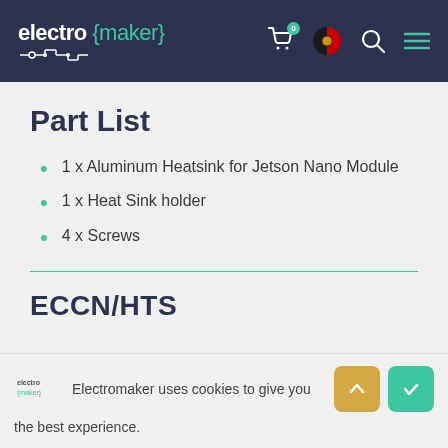electro {maker}
Part List
1 x Aluminum Heatsink for Jetson Nano Module
1 x Heat Sink holder
4 x Screws
ECCN/HTS
Electromaker uses cookies to give you the best experience.